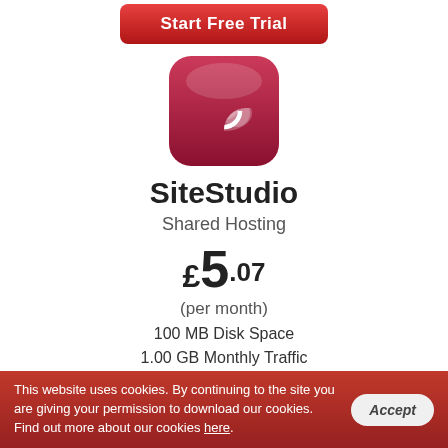[Figure (illustration): Red rounded rectangle button labeled 'Start Free Trial' at top of page]
[Figure (logo): Red rounded square app icon with white cloud and circular arrow sync symbol]
SiteStudio
Shared Hosting
£5.07
(per month)
100 MB Disk Space
1.00 GB Monthly Traffic
Affordable Domains
1 Hosted Domain(s)
500 E-mail Accounts
This website uses cookies. By continuing to the site you are giving your permission to download our cookies. Find out more about our cookies here.